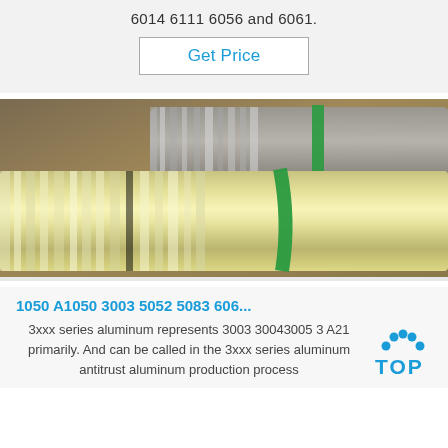6014 6111 6056 and 6061.
Get Price
[Figure (photo): Photo of aluminum coil rolls bundled with green straps, stacked on a surface. Shows metallic silver/golden sheen aluminum rolls.]
1050 A1050 3003 5052 5083 606...
3xxx series aluminum represents 3003 30043005 3 A21 primarily. And can be called in the 3xxx series aluminum antitrust aluminum production process
[Figure (logo): TOP logo with blue dots arranged in arc above the word TOP in blue bold letters]